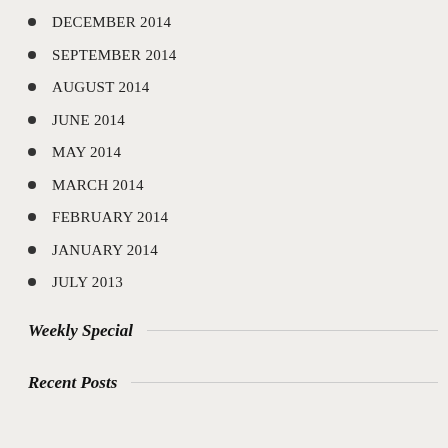DECEMBER 2014
SEPTEMBER 2014
AUGUST 2014
JUNE 2014
MAY 2014
MARCH 2014
FEBRUARY 2014
JANUARY 2014
JULY 2013
Weekly Special
Recent Posts